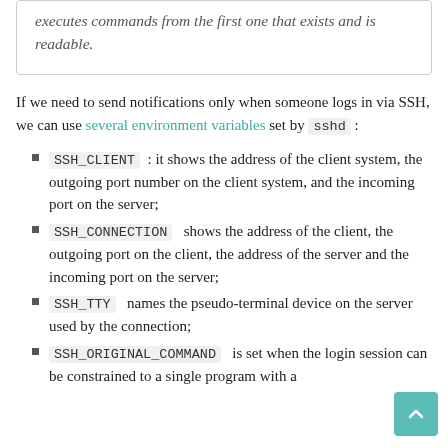executes commands from the first one that exists and is readable.
If we need to send notifications only when someone logs in via SSH, we can use several environment variables set by sshd :
SSH_CLIENT : it shows the address of the client system, the outgoing port number on the client system, and the incoming port on the server;
SSH_CONNECTION shows the address of the client, the outgoing port on the client, the address of the server and the incoming port on the server;
SSH_TTY names the pseudo-terminal device on the server used by the connection;
SSH_ORIGINAL_COMMAND is set when the login session can be constrained to a single program with a